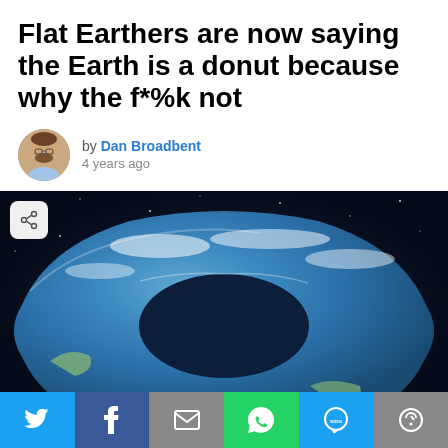Flat Earthers are now saying the Earth is a donut because why the f*%k not
by Dan Broadbent
4 years ago
[Figure (photo): A digital illustration of Earth shaped like a donut/torus, floating in space with blue oceans and white clouds visible on the surface]
[Figure (infographic): Social media share bar with buttons for Twitter, Facebook, Email, WhatsApp, SMS, and More]